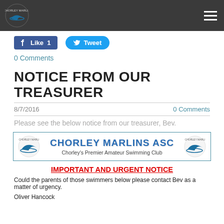Chorley Marlins swimming club header with logo and navigation
[Figure (illustration): Facebook Like button showing 'Like 1' and Twitter Tweet button]
0 Comments
NOTICE FROM OUR TREASURER
8/7/2016    0 Comments
Please see the below notice from our treasurer, Bev.
[Figure (logo): Chorley Marlins ASC banner with logo and text: Chorley's Premier Amateur Swimming Club]
IMPORTANT AND URGENT NOTICE
Could the parents of those swimmers below please contact Bev as a matter of urgency.
Oliver Hancock